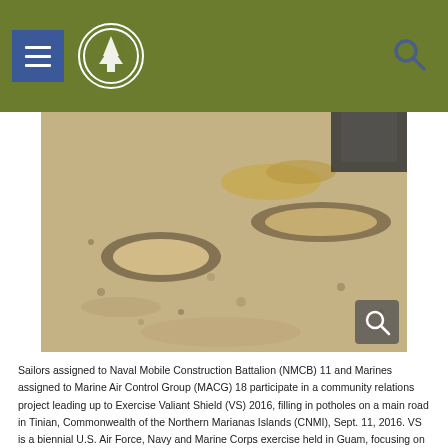Navigation header with menu button, logo, and search icon
[Figure (photo): Aerial/ground-level view of potholes on a sandy road surface being filled, with gravel/sand scattered around. A vehicle tire is partially visible in the upper right corner. A magnify search icon is overlaid in the lower right corner of the photo.]
Sailors assigned to Naval Mobile Construction Battalion (NMCB) 11 and Marines assigned to Marine Air Control Group (MACG) 18 participate in a community relations project leading up to Exercise Valiant Shield (VS) 2016, filling in potholes on a main road in Tinian, Commonwealth of the Northern Marianas Islands (CNMI), Sept. 11, 2016. VS is a biennial U.S. Air Force, Navy and Marine Corps exercise held in Guam, focusing on real-world proficiency in sustaining joint forces at sea, in the air, on land and in cyberspace. (U.S. Navy Combat Camera photo by Mass